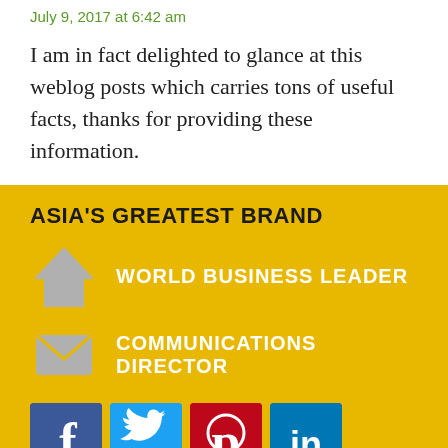July 9, 2017 at 6:42 am
I am in fact delighted to glance at this weblog posts which carries tons of useful facts, thanks for providing these information.
ASIA'S GREATEST BRAND
WORLD BUSINESS LEADER
COMMUNICATIONS DIRECTOR
[Figure (infographic): Social media icons: Facebook, Twitter, Pinterest, LinkedIn, Tumblr, YouTube]